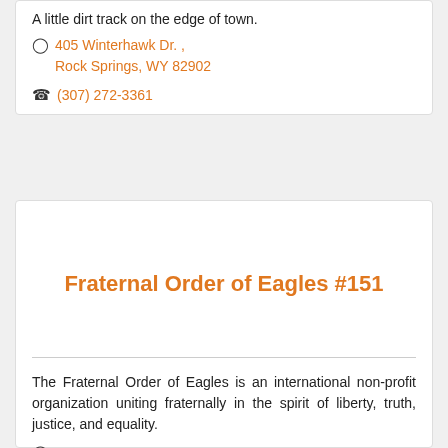A little dirt track on the edge of town.
405 Winterhawk Dr. , Rock Springs, WY 82902
(307) 272-3361
Fraternal Order of Eagles #151
The Fraternal Order of Eagles is an international non-profit organization uniting fraternally in the spirit of liberty, truth, justice, and equality.
211 B Street, Rock Springs, WY 82901-6250
(307) 362-8267